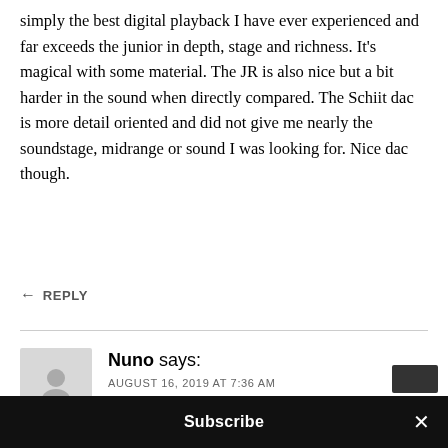simply the best digital playback I have ever experienced and far exceeds the junior in depth, stage and richness. It’s magical with some material. The JR is also nice but a bit harder in the sound when directly compared. The Schiit dac is more detail oriented and did not give me nearly the soundstage, midrange or sound I was looking for. Nice dac though.
← REPLY
Nuno says:
AUGUST 16, 2019 AT 7:36 AM
Hi Steve.
Subscribe